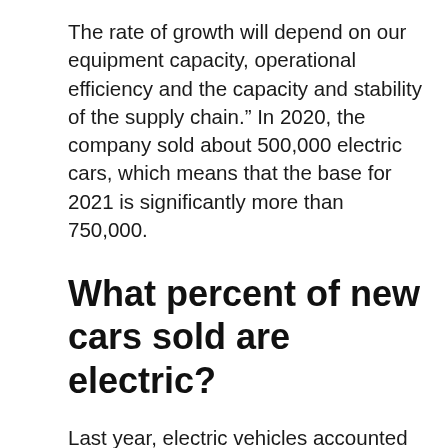The rate of growth will depend on our equipment capacity, operational efficiency and the capacity and stability of the supply chain.” In 2020, the company sold about 500,000 electric cars, which means that the base for 2021 is significantly more than 750,000.
What percent of new cars sold are electric?
Last year, electric vehicles accounted for about 2 percent of all car sales. This summer, that number jumped to nearly 5 percent of light-duty vehicles like SUVs and sedans and more than 20 percent of all passenger vehicles sales, according to